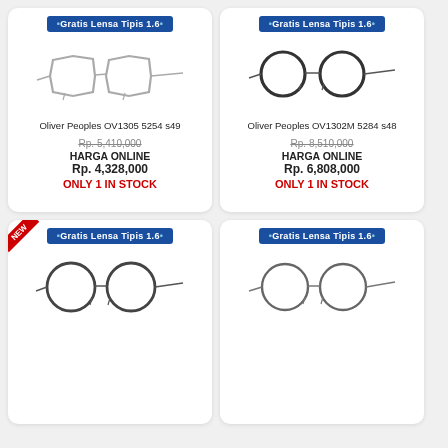[Figure (photo): Oliver Peoples OV1305 5254 s49 eyeglasses - silver hexagonal thin metal frames]
Oliver Peoples OV1305 5254 s49
Rp. 5,410,000
HARGA ONLINE
Rp. 4,328,000
ONLY 1 IN STOCK
[Figure (photo): Oliver Peoples OV1302M 5284 s48 eyeglasses - dark round thin metal frames]
Oliver Peoples OV1302M 5284 s48
Rp. 8,510,000
HARGA ONLINE
Rp. 6,808,000
ONLY 1 IN STOCK
[Figure (photo): Oliver Peoples round dark metal frame eyeglasses with NEW badge]
[Figure (photo): Oliver Peoples round gunmetal frame eyeglasses]